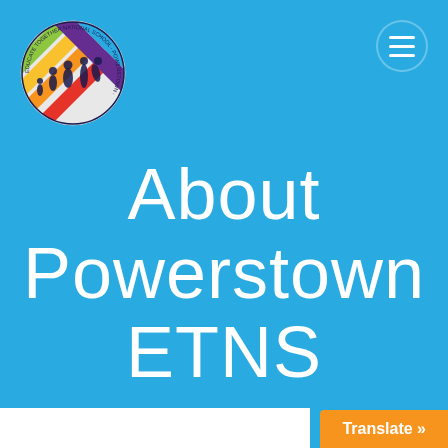[Figure (logo): Powerstown ETNS circular school logo with colorful silhouettes of children and adults on rainbow stripes, with text around the border]
[Figure (other): Hamburger menu icon (three horizontal white lines on blue circular button)]
About Powerstown ETNS
Translate »